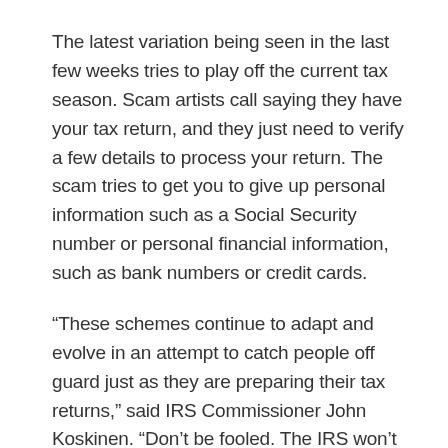The latest variation being seen in the last few weeks tries to play off the current tax season. Scam artists call saying they have your tax return, and they just need to verify a few details to process your return. The scam tries to get you to give up personal information such as a Social Security number or personal financial information, such as bank numbers or credit cards.
“These schemes continue to adapt and evolve in an attempt to catch people off guard just as they are preparing their tax returns,” said IRS Commissioner John Koskinen. “Don’t be fooled. The IRS won’t be calling you out of the blue asking you to verify your personal tax information or aggressively threatening you to make an immediate payment.”
The IRS reminds taxpayers to guard against all sorts